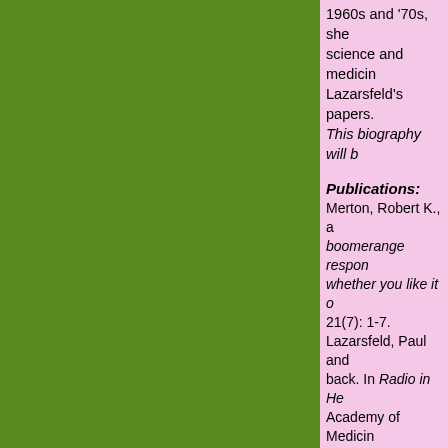1960s and '70s, she science and medicin Lazarsfeld's papers. This biography will b
Publications:
Merton, Robert K., a boomerange respon whether you like it o 21(7): 1-7. Lazarsfeld, Paul and back. In Radio in He Academy of Medicin Merton, Robert K., a interview. American Lazarsfeld, Paul, an in America: The Peo Prentice-Hall. Reprin Kendall, Patricia, an deviant cases in com Research, 1948-49: Kendall, Patricia. 19 the Stability of Resp Merton, Robert K., M 1956. The Focusse